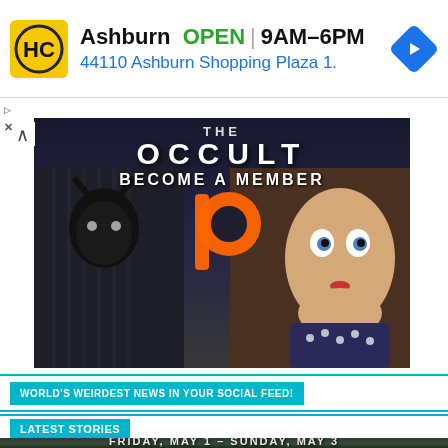[Figure (screenshot): Advertisement banner for Hobby-related store in Ashburn showing store logo, OPEN status, hours 9AM-6PM, address 44110 Ashburn Shopping Plaza 1., and a blue navigation arrow icon]
[Figure (photo): The Occult Patreon membership banner image showing a creepy dark figure on left, orange Patreon logo in center, and a vintage doll face on right, with text 'THE OCCULT' and 'BECOME A MEMBER']
WORLD'S WEIRDEST NEWS IN YOUR SOCIAL FEED!
LATEST STORIES
[Figure (photo): Dark forest/trees background image with text 'FRIDAY, MAY 1 - SUNDAY, MAY 3' partially visible at bottom]